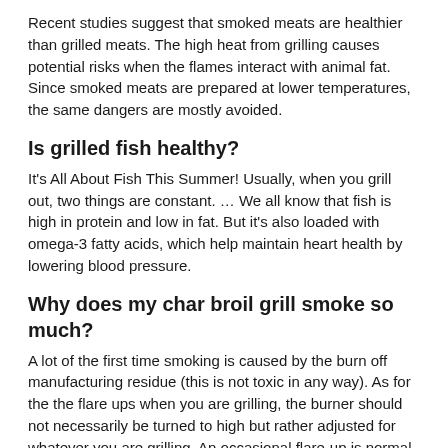Recent studies suggest that smoked meats are healthier than grilled meats. The high heat from grilling causes potential risks when the flames interact with animal fat. Since smoked meats are prepared at lower temperatures, the same dangers are mostly avoided.
Is grilled fish healthy?
It's All About Fish This Summer! Usually, when you grill out, two things are constant. … We all know that fish is high in protein and low in fat. But it's also loaded with omega-3 fatty acids, which help maintain heart health by lowering blood pressure.
Why does my char broil grill smoke so much?
A lot of the first time smoking is caused by the burn off manufacturing residue (this is not toxic in any way). As for the the flare ups when you are grilling, the burner should not necessarily be turned to high but rather adjusted for whatever you are grilling. An occasional flare-up is normal.